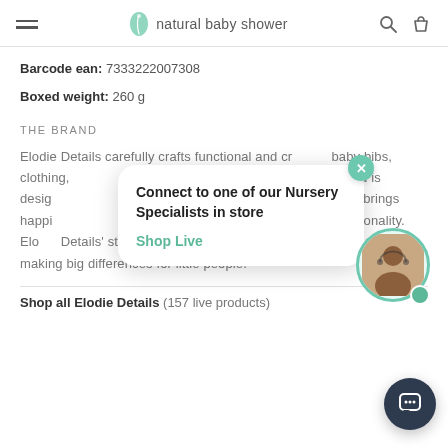natural baby shower
Barcode ean: 7333222007308
Boxed weight: 260 g
THE BRAND
Elodie Details carefully crafts functional and creative baby bibs, clothing, dummies and more. This Swedish brand is designed passionately that beautiful design brings happiness to life, without compromising on functionality. Elodie Details' stylish, high-quality products live up to their motto of making big differences for little people.
Connect to one of our Nursery Specialists in store
Shop Live
Shop all Elodie Details (157 live products)